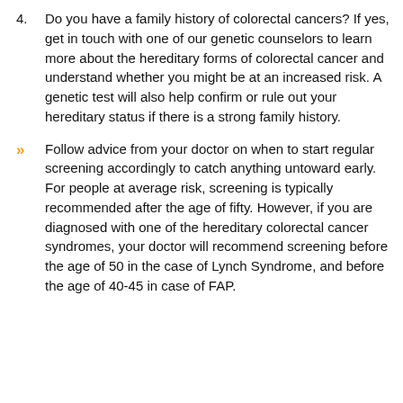4. Do you have a family history of colorectal cancers? If yes, get in touch with one of our genetic counselors to learn more about the hereditary forms of colorectal cancer and understand whether you might be at an increased risk. A genetic test will also help confirm or rule out your hereditary status if there is a strong family history.
» Follow advice from your doctor on when to start regular screening accordingly to catch anything untoward early. For people at average risk, screening is typically recommended after the age of fifty. However, if you are diagnosed with one of the hereditary colorectal cancer syndromes, your doctor will recommend screening before the age of 50 in the case of Lynch Syndrome, and before the age of 40-45 in case of FAP.